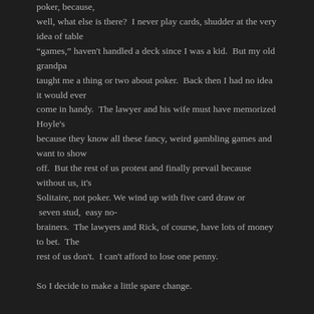poker, because,
well, what else is there?  I never play cards, shudder at the very idea of table
“games,” haven't handled a deck since I was a kid.  But my old grandpa
taught me a thing or two about poker.  Back then I had no idea it would ever
come in handy.  The lawyer and his wife must have memorized Hoyle's
because they know all these fancy, weird gambling games and want to show
off.  But the rest of us protest and finally prevail because without us, it's
Solitaire, not poker. We wind up with five card draw or seven stud,  easy no-
brainers.  The lawyers and Rick, of course, have lots of money to bet.  The
rest of us don't.  I can't afford to lose one penny.

So I decide to make a little spare change.